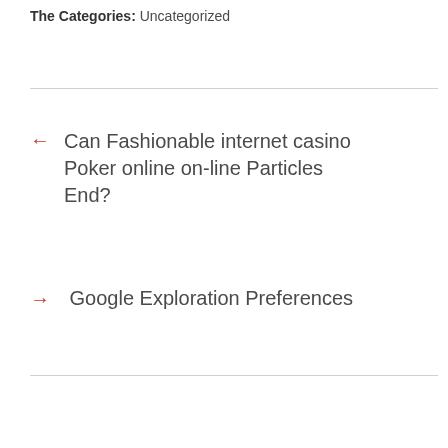The Categories: Uncategorized
← Can Fashionable internet casino Poker online on-line Particles End?
→ Google Exploration Preferences